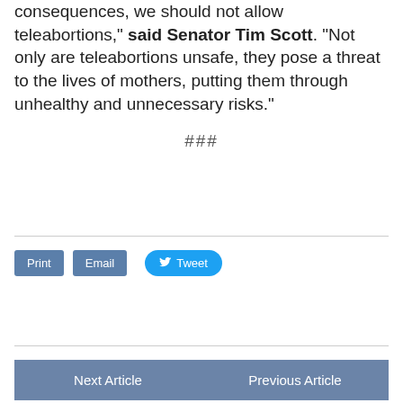consequences, we should not allow teleabortions," said Senator Tim Scott. "Not only are teleabortions unsafe, they pose a threat to the lives of mothers, putting them through unhealthy and unnecessary risks."
###
Print  Email  Tweet
Next Article
Previous Article